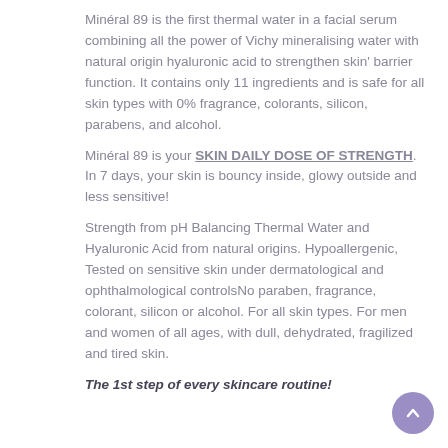Minéral 89 is the first thermal water in a facial serum combining all the power of Vichy mineralising water with natural origin hyaluronic acid to strengthen skin' barrier function. It contains only 11 ingredients and is safe for all skin types with 0% fragrance, colorants, silicon, parabens, and alcohol.
Minéral 89 is your SKIN DAILY DOSE OF STRENGTH. In 7 days, your skin is bouncy inside, glowy outside and less sensitive!
Strength from pH Balancing Thermal Water and Hyaluronic Acid from natural origins. Hypoallergenic, Tested on sensitive skin under dermatological and ophthalmological controlsNo paraben, fragrance, colorant, silicon or alcohol. For all skin types. For men and women of all ages, with dull, dehydrated, fragilized and tired skin.
The 1st step of every skincare routine!